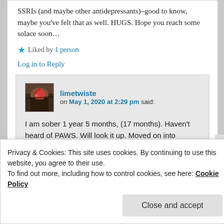SSRIs (and maybe other antidepressants)–good to know, maybe you've felt that as well. HUGS. Hope you reach some solace soon…
★ Liked by 1 person
Log in to Reply
limetwiste on May 1, 2020 at 2:29 pm said:
I am sober 1 year 5 months, (17 months). Haven't heard of PAWS. Will look it up. Moved on into menopause now. Peri-
Privacy & Cookies: This site uses cookies. By continuing to use this website, you agree to their use.
To find out more, including how to control cookies, see here: Cookie Policy